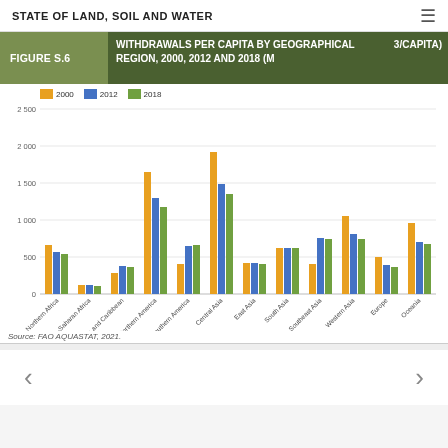STATE OF LAND, SOIL AND WATER
FIGURE S.6 — WITHDRAWALS PER CAPITA BY GEOGRAPHICAL REGION, 2000, 2012 AND 2018 (M3/CAPITA)
[Figure (grouped-bar-chart): WITHDRAWALS PER CAPITA BY GEOGRAPHICAL REGION, 2000, 2012 AND 2018 (M3/CAPITA)]
Source: FAO AQUASTAT, 2021.